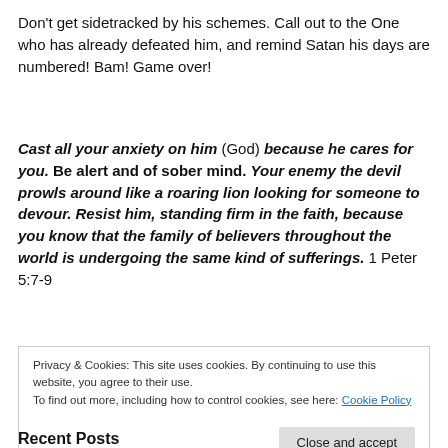Don’t get sidetracked by his schemes. Call out to the One who has already defeated him, and remind Satan his days are numbered! Bam! Game over!
Cast all your anxiety on him (God) because he cares for you. Be alert and of sober mind. Your enemy the devil prowls around like a roaring lion looking for someone to devour. Resist him, standing firm in the faith, because you know that the family of believers throughout the world is undergoing the same kind of sufferings. 1 Peter 5:7-9
Privacy & Cookies: This site uses cookies. By continuing to use this website, you agree to their use.
To find out more, including how to control cookies, see here: Cookie Policy
Recent Posts